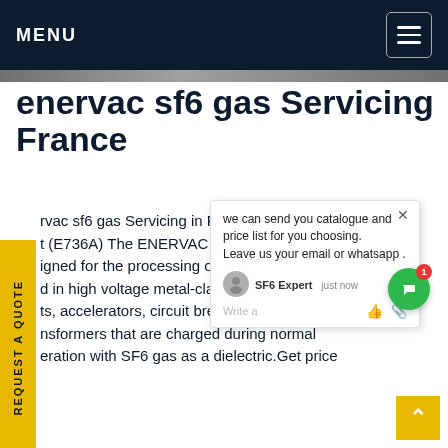MENU
enervac sf6 gas Servicing France
enervac sf6 gas Servicing in Frances t (E736A) The ENERVAC SF6 Gas igned for the processing of Sulfur d in high voltage metal-clad it s ts, accelerators, circuit breakers and nsformers that are charged during normal eration with SF6 gas as a dielectric.Get price
[Figure (screenshot): Chat popup overlay with text: 'we can send you catalogue and price list for you choosing. Leave us your email or whatsapp .' with SF6 Expert agent, just now timestamp, and input write area with like and attachment icons.]
[Figure (photo): Photo of a technician in blue work uniform working with industrial SF6 gas servicing equipment outdoors.]